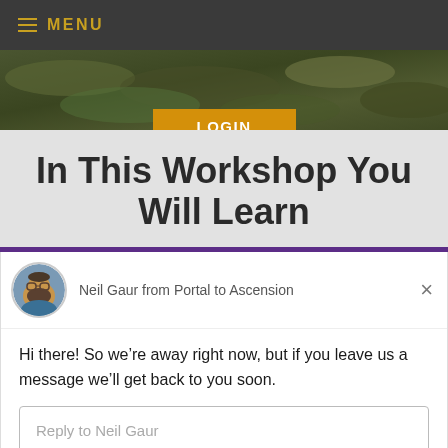≡ MENU
[Figure (screenshot): Hero banner with dark greenish nature/landscape texture background, with a LOGIN button overlaid in the center bottom]
In This Workshop You Will Learn
Neil Gaur from Portal to Ascension
Hi there! So we're away right now, but if you leave us a message we'll get back to you soon.
Reply to Neil Gaur
Chat ⚡ by Drift